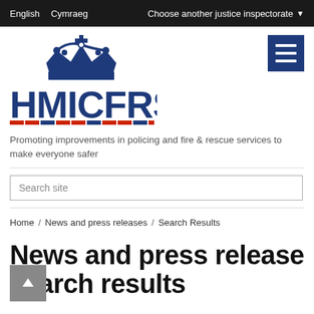English  Cymraeg  Choose another justice inspectorate
[Figure (logo): HMICFRS crown logo with text HMICFRS and red/blue striped bar underneath]
Promoting improvements in policing and fire & rescue services to make everyone safer
Search site
Home / News and press releases / Search Results
News and press release search results